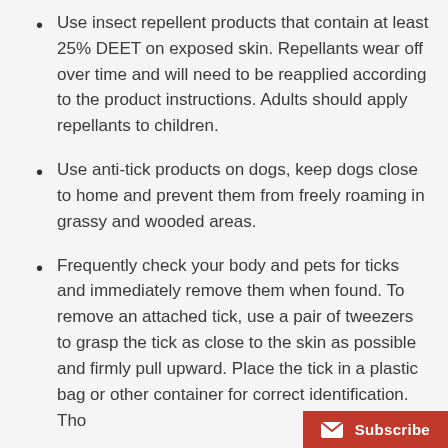Use insect repellent products that contain at least 25% DEET on exposed skin. Repellants wear off over time and will need to be reapplied according to the product instructions. Adults should apply repellants to children.
Use anti-tick products on dogs, keep dogs close to home and prevent them from freely roaming in grassy and wooded areas.
Frequently check your body and pets for ticks and immediately remove them when found. To remove an attached tick, use a pair of tweezers to grasp the tick as close to the skin as possible and firmly pull upward. Place the tick in a plastic bag or other container for correct identification. Tho...